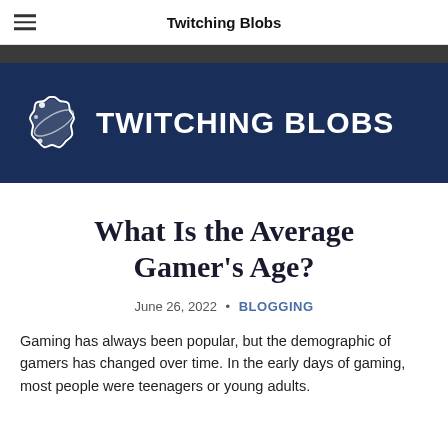Twitching Blobs
[Figure (logo): Twitching Blobs website logo — white blob/star shape icon on dark blue background with white bold text 'TWITCHING BLOBS']
What Is the Average Gamer's Age?
June 26, 2022 • BLOGGING
Gaming has always been popular, but the demographic of gamers has changed over time. In the early days of gaming, most people were teenagers or young adults.